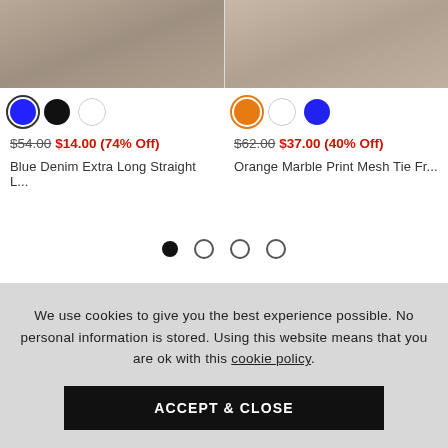[Figure (photo): Top portion of two product photos: left shows denim jeans/shoes on steps, right shows legs with heels on pavement]
Color swatches left product: blue (selected), black, white
Color swatches right product: orange (selected), white, blue
$54.00 $14.00 (74% Off)
$62.00 $37.00 (40% Off)
Blue Denim Extra Long Straight L...
Orange Marble Print Mesh Tie Fr...
[Figure (other): Pagination dots: 1 filled, 3 empty circles]
We use cookies to give you the best experience possible. No personal information is stored. Using this website means that you are ok with this cookie policy.
ACCEPT & CLOSE